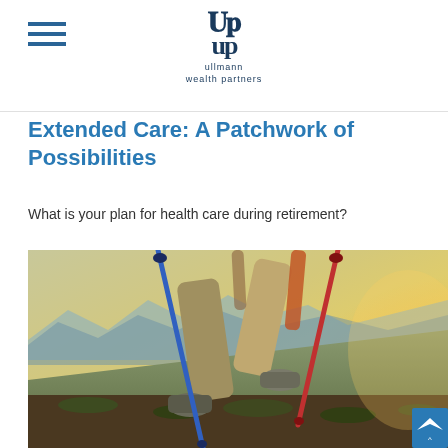ullmann wealth partners
Extended Care: A Patchwork of Possibilities
What is your plan for health care during retirement?
[Figure (photo): Close-up photo of a hiker's legs using trekking poles on a mountain trail, wearing khaki pants and grey hiking boots, with mountain scenery in the background and warm sunset light]